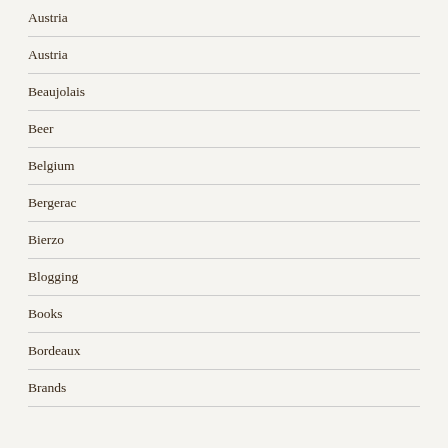Austria
Austria
Beaujolais
Beer
Belgium
Bergerac
Bierzo
Blogging
Books
Bordeaux
Brands